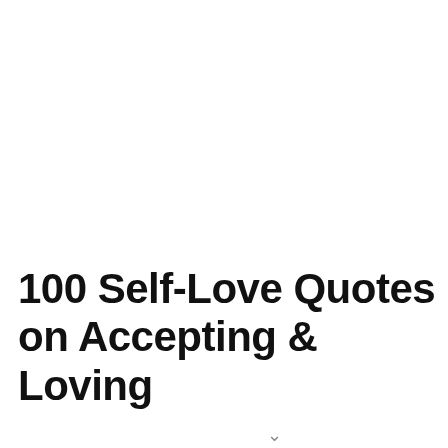100 Self-Love Quotes on Accepting & Loving
[Figure (screenshot): A video player overlay showing 'No compatible source was found for this media.' with a circular X/close button and a chevron pointing down at the bottom. Background shows faint watermark text of quotes.]